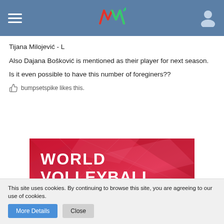Navigation bar with hamburger menu, logo, and user icon
Tijana Milojević - L
Also Dajana Bošković is mentioned as their player for next season.
Is it even possible to have this number of foreginers??
bumpsetspike likes this.
[Figure (photo): World Volleyball Coaches Show promotional banner with red geometric background]
This site uses cookies. By continuing to browse this site, you are agreeing to our use of cookies.